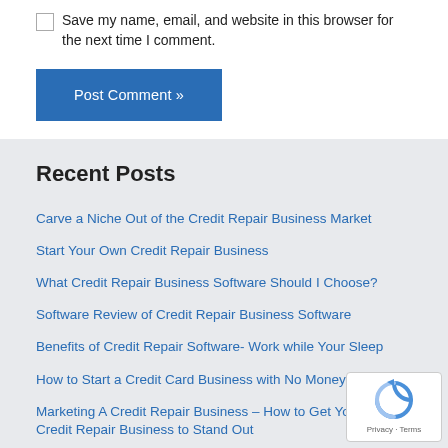Save my name, email, and website in this browser for the next time I comment.
Post Comment »
Recent Posts
Carve a Niche Out of the Credit Repair Business Market
Start Your Own Credit Repair Business
What Credit Repair Business Software Should I Choose?
Software Review of Credit Repair Business Software
Benefits of Credit Repair Software- Work while Your Sleep
How to Start a Credit Card Business with No Money
Marketing A Credit Repair Business – How to Get Your Credit Repair Business to Stand Out